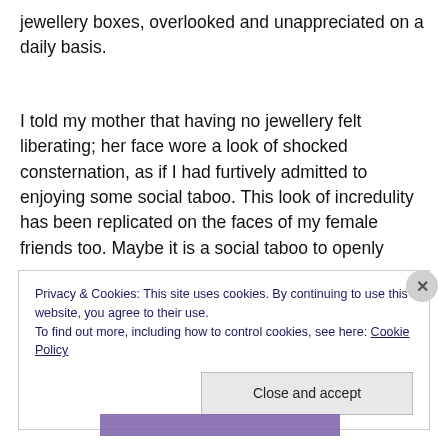jewellery boxes, overlooked and unappreciated on a daily basis.
I told my mother that having no jewellery felt liberating; her face wore a look of shocked consternation, as if I had furtively admitted to enjoying some social taboo. This look of incredulity has been replicated on the faces of my female friends too. Maybe it is a social taboo to openly
Privacy & Cookies: This site uses cookies. By continuing to use this website, you agree to their use.
To find out more, including how to control cookies, see here: Cookie Policy
Close and accept